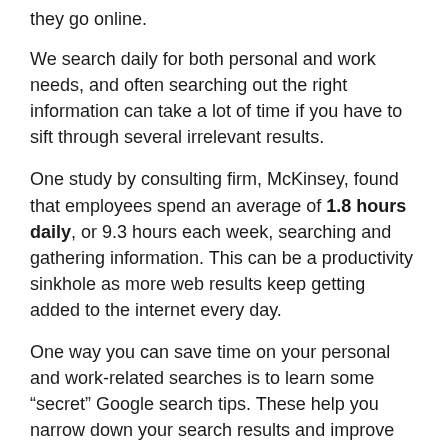they go online.
We search daily for both personal and work needs, and often searching out the right information can take a lot of time if you have to sift through several irrelevant results.
One study by consulting firm, McKinsey, found that employees spend an average of 1.8 hours daily, or 9.3 hours each week, searching and gathering information. This can be a productivity sinkhole as more web results keep getting added to the internet every day.
One way you can save time on your personal and work-related searches is to learn some “secret” Google search tips. These help you narrow down your search results and improve productivity by helping you find the information you need faster.
Search a Specific Website